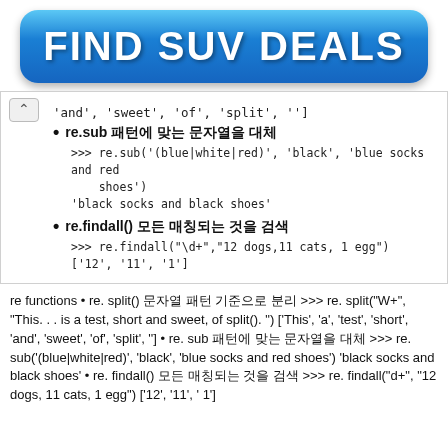[Figure (other): Blue gradient button banner with text FIND SUV DEALS in white bold font]
'and', 'sweet', 'of', 'split', '']
re.sub 패턴에 맞는 문자열을 대체
>>> re.sub('(blue|white|red)', 'black', 'blue socks and red shoes')
'black socks and black shoes'
re.findall() 모든 매칭되는 것을 검색
>>> re.findall("\d+","12 dogs,11 cats, 1 egg")
['12', '11', '1']
re functions • re. split() 문자열 패턴 기준으로 분리 >>> re. split("W+", "This. . . is a test, short and sweet, of split(). ") ['This', 'a', 'test', 'short', 'and', 'sweet', 'of', 'split', ''] • re. sub 패턴에 맞는 문자열을 대체 >>> re. sub('(blue|white|red)', 'black', 'blue socks and red shoes') 'black socks and black shoes' • re. findall() 모든 매칭되는 것을 검색 >>> re. findall("d+", "12 dogs, 11 cats, 1 egg") ['12', '11', ' 1']